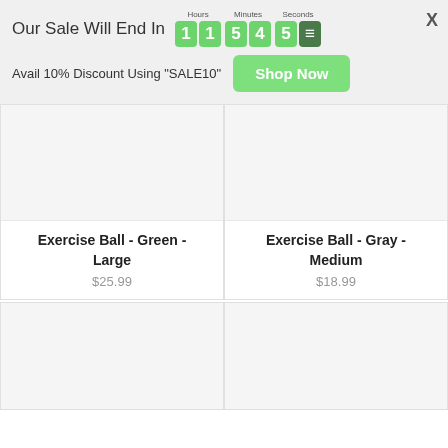Our Sale Will End In  Hours: 11  Minutes: 54  Seconds: 5
Avail 10% Discount Using "SALE10"
Shop Now
[Figure (other): Product image placeholder for Exercise Ball - Green - Large]
Exercise Ball - Green - Large
$25.99
[Figure (other): Product image placeholder for Exercise Ball - Gray - Medium]
Exercise Ball - Gray - Medium
$18.99
[Figure (other): Product image placeholder bottom left]
[Figure (other): Product image placeholder bottom right]